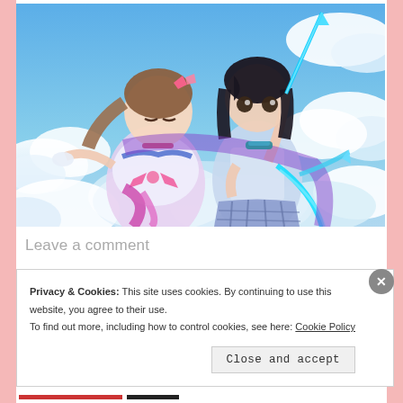[Figure (illustration): Anime-style illustration of two female characters against a blue sky with clouds. Left character wears a pink/white magical girl outfit with a pink bow and hair accessory. Right character wears a blue school uniform holding a glowing blue lance/spear weapon.]
Leave a comment
Privacy & Cookies: This site uses cookies. By continuing to use this website, you agree to their use.
To find out more, including how to control cookies, see here: Cookie Policy
Close and accept